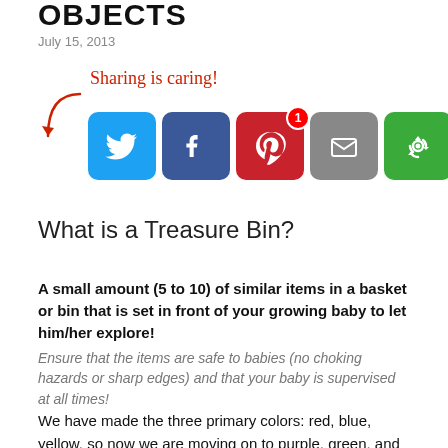OBJECTS
July 15, 2013
[Figure (infographic): Social sharing buttons: Twitter (blue bird icon), Facebook (blue f icon), Pinterest (red P icon with badge '1'), Email (grey envelope icon), Share (green circular arrows icon), with cursive red 'Sharing is caring!' label and red curved arrow pointing to icons]
What is a Treasure Bin?
A small amount (5 to 10) of similar items in a basket or bin that is set in front of your growing baby to let him/her explore!
Ensure that the items are safe to babies (no choking hazards or sharp edges) and that your baby is supervised at all times!
We have made the three primary colors: red, blue, yellow, so now we are moving on to purple, green, and orange treasure bins!